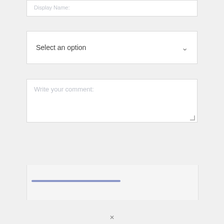[Figure (screenshot): UI form screenshot showing a Display Name text input field at the top (partially visible), a 'Select an option' dropdown below it, a 'Write your comment:' textarea below that, and a blue progress bar at the bottom of the modal card. A close X button is visible at the very bottom.]